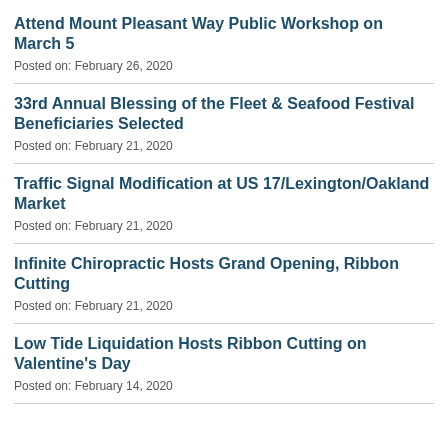Attend Mount Pleasant Way Public Workshop on March 5
Posted on: February 26, 2020
33rd Annual Blessing of the Fleet & Seafood Festival Beneficiaries Selected
Posted on: February 21, 2020
Traffic Signal Modification at US 17/Lexington/Oakland Market
Posted on: February 21, 2020
Infinite Chiropractic Hosts Grand Opening, Ribbon Cutting
Posted on: February 21, 2020
Low Tide Liquidation Hosts Ribbon Cutting on Valentine's Day
Posted on: February 14, 2020